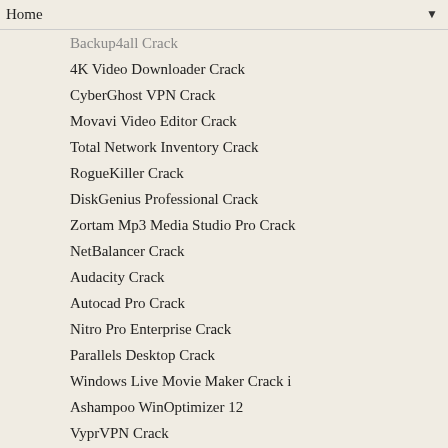Home ▼
Backup4all Crack
4K Video Downloader Crack
CyberGhost VPN Crack
Movavi Video Editor Crack
Total Network Inventory Crack
RogueKiller Crack
DiskGenius Professional Crack
Zortam Mp3 Media Studio Pro Crack
NetBalancer Crack
Audacity Crack
Autocad Pro Crack
Nitro Pro Enterprise Crack
Parallels Desktop Crack
Windows Live Movie Maker Crack i
Ashampoo WinOptimizer 12
VyprVPN Crack
3DMark Crack
EditPlus Crack